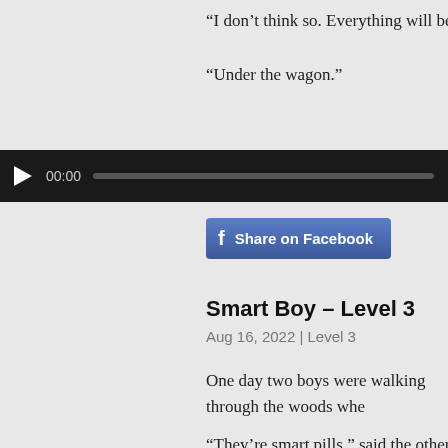“I don’t think so. Everything will be okay,” the neighbour s
“Under the wagon.”
[Figure (other): Audio player bar with play button showing 00:00 and a progress bar]
[Figure (other): Share on Facebook button with Facebook icon]
Smart Boy – Level 3
Aug 16, 2022 | Level 3
One day two boys were walking through the woods whe that?"
“They’re smart pills,” said the other boy. “Eat them and th